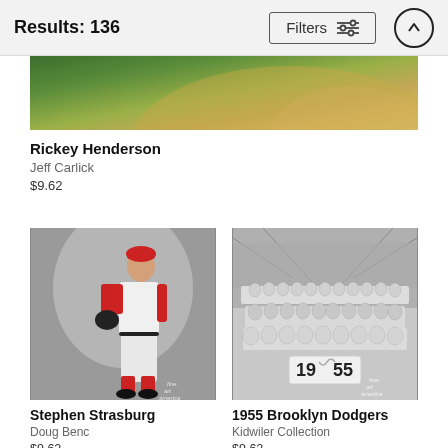Results: 136
Filters
[Figure (photo): Partial cropped photo of a baseball field from above, showing green grass and brown infield dirt]
Rickey Henderson
Jeff Carlick
$9.62
[Figure (photo): Photo of Stephen Strasburg in Washington Nationals baseball uniform, standing pose against gray background, fine art america watermark]
Stephen Strasburg
Doug Benc
$9.62
[Figure (photo): Black and white team photo of the 1955 Brooklyn Dodgers posed in rows inside stadium, showing number placard '19 55', fine art america watermark]
1955 Brooklyn Dodgers
Kidwiler Collection
$9.62